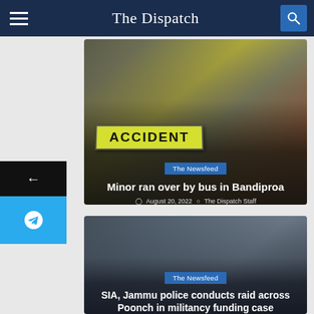The Dispatch
[Figure (photo): News article card with accident road sign (yellow ACCIDENT board) and orange traffic cones in background. Tag: The Newsfeed. Headline: Minor ran over by bus in Bandiproa. Date: August 20, 2022. Author: The Dispatch Staff.]
[Figure (photo): News article card with military armored vehicle in background. Tag: The Newsfeed. Headline: SIA, Jammu police conducts raid across Poonch in militancy funding case.]